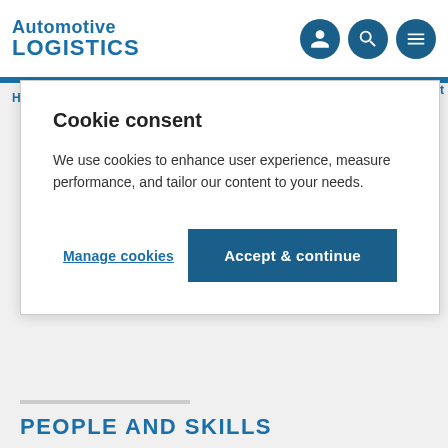Automotive LOGISTICS
Cookie consent
We use cookies to enhance user experience, measure performance, and tailor our content to your needs.
Manage cookies
Accept & continue
[Figure (screenshot): Advertisement banner for Automotive Wire Harness conference with 'REGISTER NOW' button and text 'UNITING THE GLOBAL WIRE HARNESS COMMUNITY' on blue background]
PEOPLE AND SKILLS